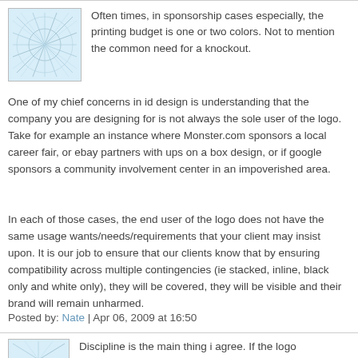[Figure (illustration): Avatar image with blue and white geometric pattern]
Often times, in sponsorship cases especially, the printing budget is one or two colors. Not to mention the common need for a knockout.
One of my chief concerns in id design is understanding that the company you are designing for is not always the sole user of the logo. Take for example an instance where Monster.com sponsors a local career fair, or ebay partners with ups on a box design, or if google sponsors a community involvement center in an impoverished area.
In each of those cases, the end user of the logo does not have the same usage wants/needs/requirements that your client may insist upon. It is our job to ensure that our clients know that by ensuring compatibility across multiple contingencies (ie stacked, inline, black only and white only), they will be covered, they will be visible and their brand will remain unharmed.
Posted by: Nate | Apr 06, 2009 at 16:50
[Figure (illustration): Avatar image with blue and white geometric pattern (second comment)]
Discipline is the main thing i agree. If the logo